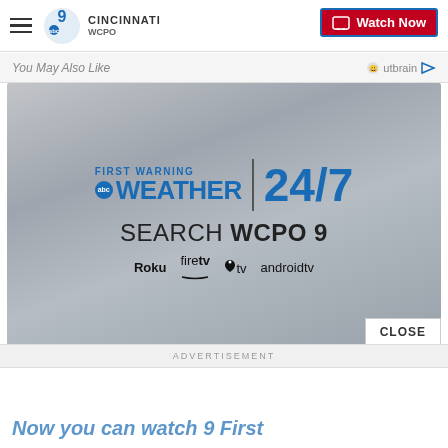WCPO 9 CINCINNATI — Watch Now
You May Also Like
Outbrain
[Figure (screenshot): WCPO 9 First Warning Weather 24/7 advertisement. Text reads: FIRST WARNING WEATHER | 24/7. SEARCH WCPO 9. Roku firetv apple tv androidtv. Background is cloudy grey sky.]
CLOSE
ADVERTISEMENT
Now you can watch 9 First